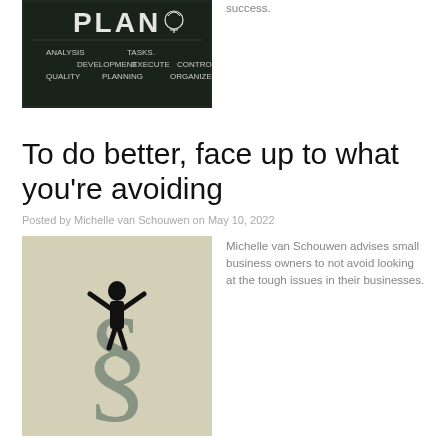[Figure (photo): Chalkboard with PLAN written in large letters, with words like ANALYSIS, DEVELOPMENT, QUALITY, TASKS, EXECUTE, PLANNING, CONTROL, ORGANIZE written beneath]
success.
To do better, face up to what you're avoiding
Posted by Michelle van Schouwen on May 10, 2022
[Figure (illustration): Silhouette of a person standing on top of a large section symbol (§) on a light background]
Michelle van Schouwen advises small business owners to not avoid looking at the tough issues in their businesses.
Simple ways businesses can improve product sustainability